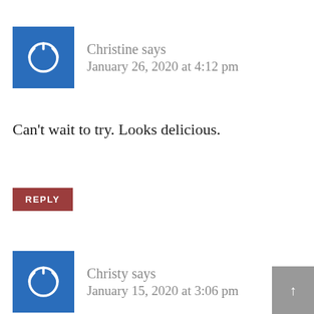[Figure (illustration): Blue square avatar with white power/circle icon — Christine's comment avatar]
Christine says
January 26, 2020 at 4:12 pm
Can't wait to try. Looks delicious.
REPLY
[Figure (illustration): Blue square avatar with white power/circle icon — Christy's comment avatar]
Christy says
January 15, 2020 at 3:06 pm
I've been making no peak chicken for years. I modify and only use GF cream of